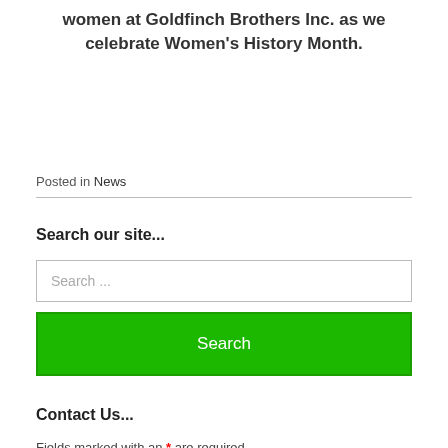women at Goldfinch Brothers Inc. as we celebrate Women's History Month.
Posted in News
Search our site...
Search ...
Search
Contact Us...
Fields marked with an * are required